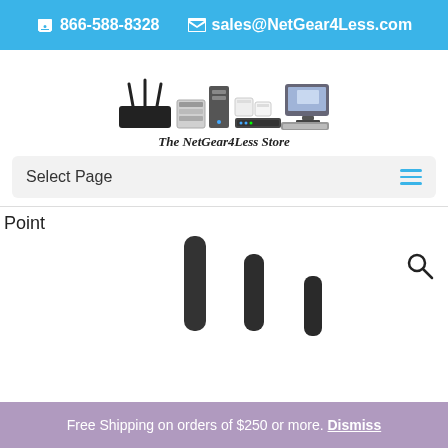866-588-8328  sales@NetGear4Less.com
[Figure (logo): NetGear4Less store logo showing networking equipment including routers, servers, switches, and a laptop]
The NetGear4Less Store
Select Page
Point
[Figure (photo): Three black WiFi antennas of decreasing height shown from left to right against a white background]
Free Shipping on orders of $250 or more. Dismiss